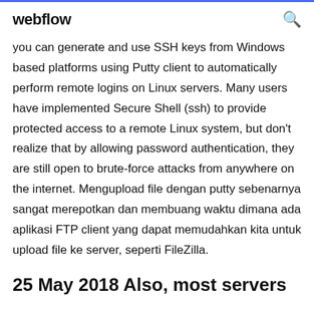webflow
you can generate and use SSH keys from Windows based platforms using Putty client to automatically perform remote logins on Linux servers. Many users have implemented Secure Shell (ssh) to provide protected access to a remote Linux system, but don't realize that by allowing password authentication, they are still open to brute-force attacks from anywhere on the internet. Mengupload file dengan putty sebenarnya sangat merepotkan dan membuang waktu dimana ada aplikasi FTP client yang dapat memudahkan kita untuk upload file ke server, seperti FileZilla.
25 May 2018 Also, most servers